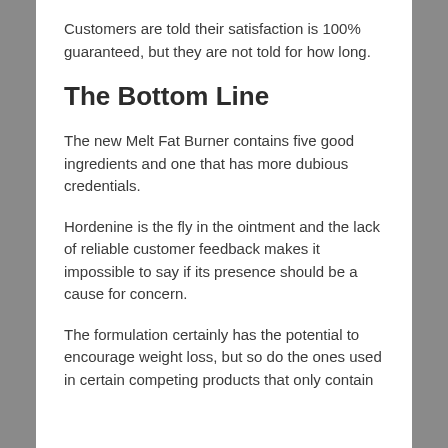Customers are told their satisfaction is 100% guaranteed, but they are not told for how long.
The Bottom Line
The new Melt Fat Burner contains five good ingredients and one that has more dubious credentials.
Hordenine is the fly in the ointment and the lack of reliable customer feedback makes it impossible to say if its presence should be a cause for concern.
The formulation certainly has the potential to encourage weight loss, but so do the ones used in certain competing products that only contain